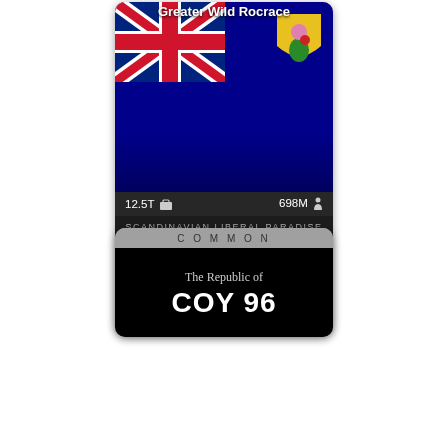Greater Wild Rocrace
[Figure (screenshot): Mobile game card showing a dark blue flag with Union Jack in top-left and yellow shield emblem top-right, stats showing 12.5T and 698M, type Scandinavian Liberal Paradise, motto You Can't Stop Progress, hamburger icon, Season Two footer with Duolingo Birds]
SEASON TWO    Duolingo Birds
[Figure (screenshot): Second card labeled COMMON showing black interior with text The Republic of COY 96]
C O M M O N
The Republic of COY 96